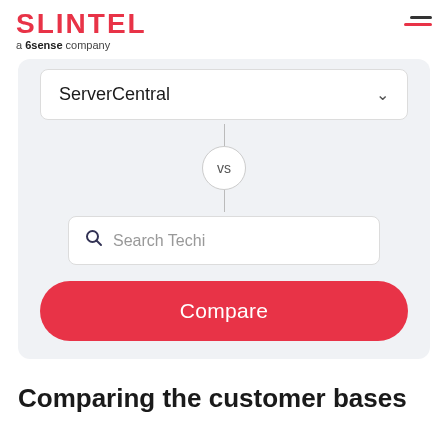SLINTEL a 6sense company
ServerCentral
vs
Search Techi
Compare
Comparing the customer bases